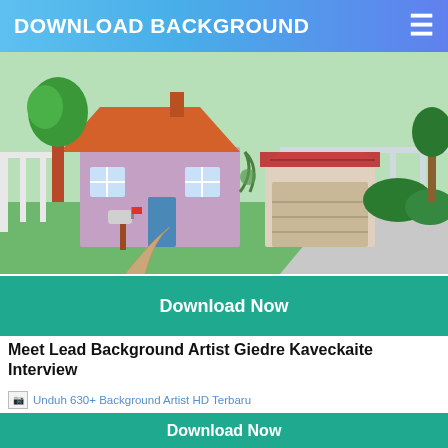DOWNLOAD BACKGROUND
[Figure (illustration): Cartoon illustration of a suburban house with red roof, garage, mailbox, green lawn, fence, and trees.]
Download Now
Meet Lead Background Artist Giedre Kaveckaite Interview
[Figure (screenshot): Broken image placeholder with alt text: Unduh 630+ Background Artist HD Terbaru]
Download Now
On Background Art 1 Leo De Wijs Visual Productionsleo De
[Figure (screenshot): Broken image placeholder with alt text: Unduh 630+ Background Artist HD Terbaru]
Download Now